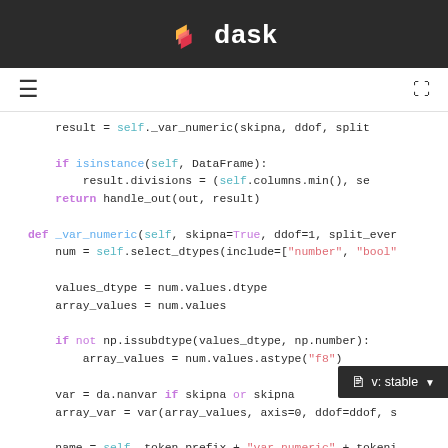dask
[Figure (logo): Dask logo with orange/red layered flag icon and white 'dask' text on dark background]
Navigation bar with hamburger menu icon and expand/fullscreen icon
result = self._var_numeric(skipna, ddof, split

    if isinstance(self, DataFrame):
        result.divisions = (self.columns.min(), se
    return handle_out(out, result)

def _var_numeric(self, skipna=True, ddof=1, split_ever
    num = self.select_dtypes(include=["number", "bool"

    values_dtype = num.values.dtype
    array_values = num.values

    if not np.issubdtype(values_dtype, np.number):
        array_values = num.values.astype("f8")

    var = da.nanvar if skipna or skipna
    array_var = var(array_values, axis=0, ddof=ddof, s

    name = self._token_prefix + "var-numeric" + tokeni